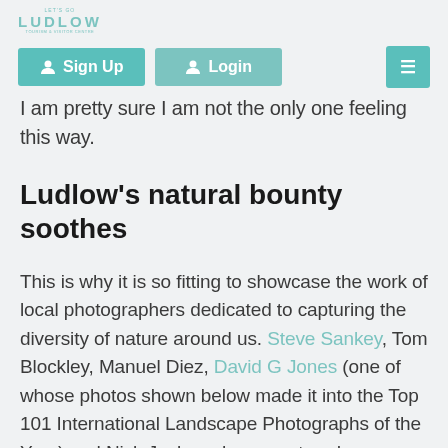LUDLOW
[Figure (other): Navigation bar with Sign Up button, Login button, and hamburger menu button]
I am pretty sure I am not the only one feeling this way.
Ludlow's natural bounty soothes
This is why it is so fitting to showcase the work of local photographers dedicated to capturing the diversity of nature around us. Steve Sankey, Tom Blockley, Manuel Diez, David G Jones (one of whose photos shown below made it into the Top 101 International Landscape Photographs of the Year) and Nick Jackson have captured some stunning images reminding us of the bounty available on our doorstep.